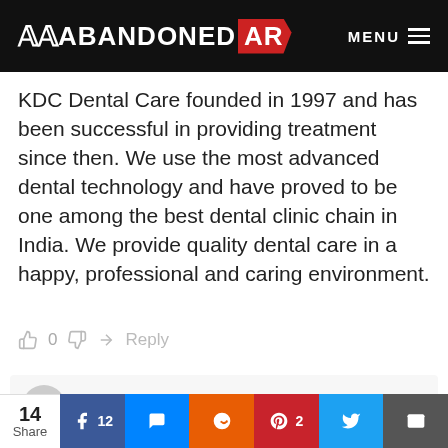ABANDONED AR — MENU
KDC Dental Care founded in 1997 and has been successful in providing treatment since then. We use the most advanced dental technology and have proved to be one among the best dental clinic chain in India. We provide quality dental care in a happy, professional and caring environment.
👍 0 👎 ➜ Reply
Darlene Battles — 3 years ago
I was born here,Dr. Joe delivered me in Sept. 1955. I hope they restore this piece of history. I want to visit
14 Share | Facebook 12 | Messenger | Reddit | Pinterest 2 | Twitter | Email